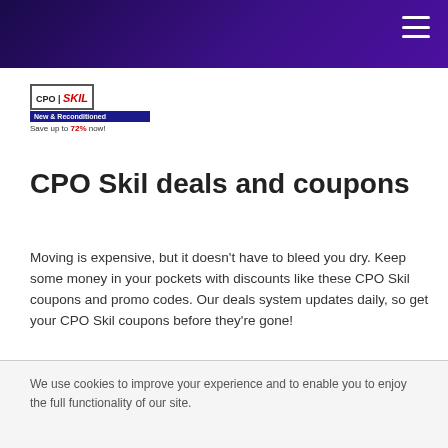[Figure (logo): CPO SKIL logo with New & Reconditioned bar and Save up to 72% now! text]
CPO Skil deals and coupons
Moving is expensive, but it doesn't have to bleed you dry. Keep some money in your pockets with discounts like these CPO Skil coupons and promo codes. Our deals system updates daily, so get your CPO Skil coupons before they're gone!
We use cookies to improve your experience and to enable you to enjoy the full functionality of our site.